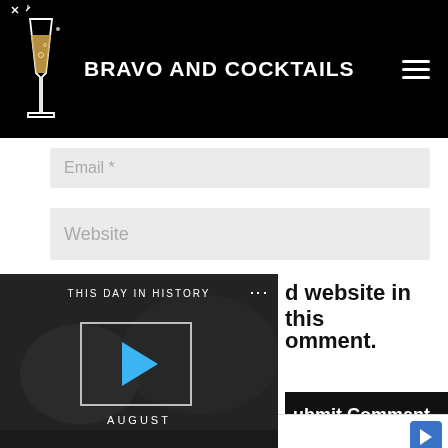BRAVO AND COCKTAILS
Email *
Website
[Figure (screenshot): Video player showing 'This Day In History' with a play button and AUGUST label, progress bar at bottom]
d website in this
omment.
Submit Comment
Lidl: More Food for Less Money
Lidl